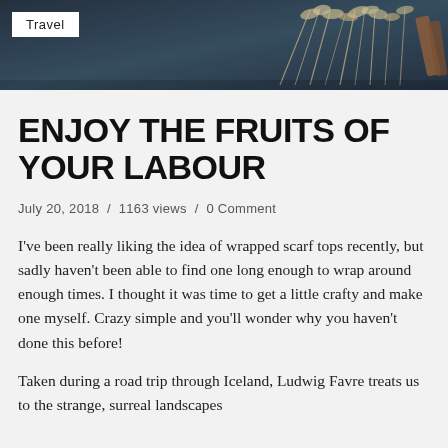[Figure (photo): Dark teal/navy background with dried botanical flowers and cinnamon sticks arranged on the right side. White 'Travel' label tag in upper left corner.]
ENJOY THE FRUITS OF YOUR LABOUR
July 20, 2018 /  1163 views /  0 Comment
I've been really liking the idea of wrapped scarf tops recently, but sadly haven't been able to find one long enough to wrap around enough times. I thought it was time to get a little crafty and make one myself. Crazy simple and you'll wonder why you haven't done this before!
Taken during a road trip through Iceland, Ludwig Favre treats us to the strange, surreal landscapes